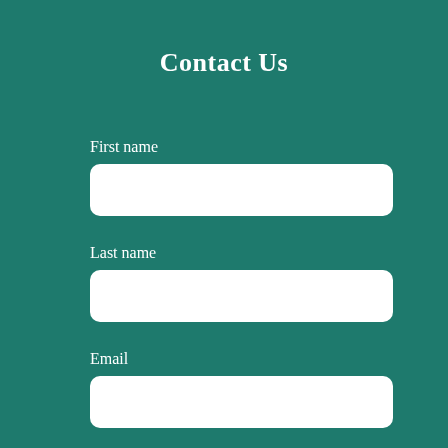Contact Us
First name
Last name
Email